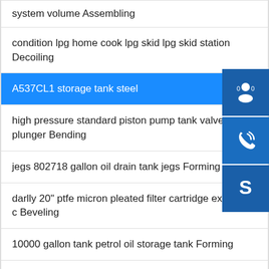system volume Assembling
condition lpg home cook lpg skid lpg skid station Decoiling
A537CL1 storage tank steel
high pressure standard piston pump tank valve type plunger Bending
jegs 802718 gallon oil drain tank jegs Forming
darlly 20" ptfe micron pleated filter cartridge excellent c Beveling
10000 gallon tank petrol oil storage tank Forming
bolt together water tank Rolling